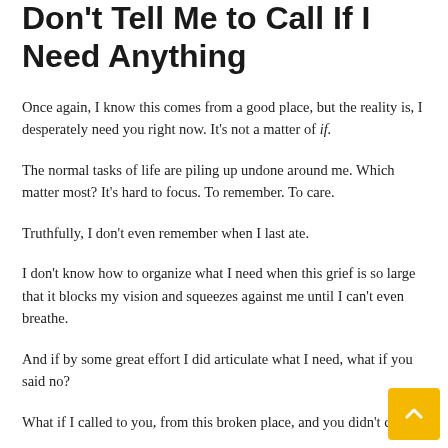Don't Tell Me to Call If I Need Anything
Once again, I know this comes from a good place, but the reality is, I desperately need you right now. It's not a matter of if.
The normal tasks of life are piling up undone around me. Which matter most? It's hard to focus. To remember. To care.
Truthfully, I don't even remember when I last ate.
I don't know how to organize what I need when this grief is so large that it blocks my vision and squeezes against me until I can't even breathe.
And if by some great effort I did articulate what I need, what if you said no?
What if I called to you, from this broken place, and you didn't come?
The risk is too much, because even more than I need your practical help I need you. I need to believe that you would be there, if only I